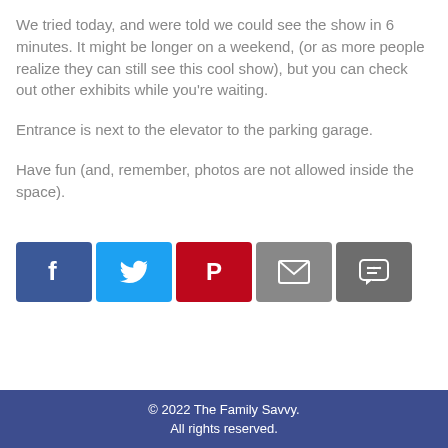We tried today, and were told we could see the show in 6 minutes. It might be longer on a weekend, (or as more people realize they can still see this cool show), but you can check out other exhibits while you're waiting.
Entrance is next to the elevator to the parking garage.
Have fun (and, remember, photos are not allowed inside the space).
[Figure (infographic): Row of five social sharing buttons: Facebook (blue), Twitter (light blue), Pinterest (red), Email (gray), SMS/message (dark gray)]
© 2022 The Family Savvy.
All rights reserved.